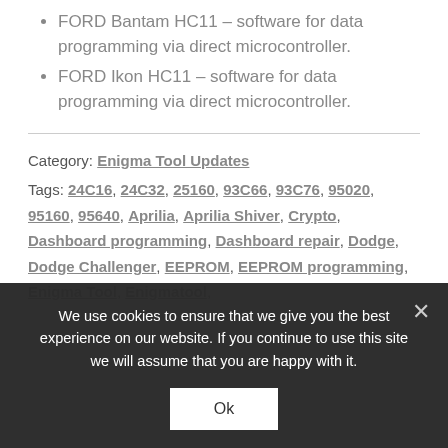FORD Bantam HC11 – software for data programming via direct microcontroller.
FORD Ikon HC11 – software for data programming via direct microcontroller.
Category: Enigma Tool Updates
Tags: 24C16, 24C32, 25160, 93C66, 93C76, 95020, 95160, 95640, Aprilia, Aprilia Shiver, Crypto, Dashboard programming, Dashboard repair, Dodge, Dodge Challenger, EEPROM, EEPROM programming, Enigma Tool, Enigmatool,
We use cookies to ensure that we give you the best experience on our website. If you continue to use this site we will assume that you are happy with it.